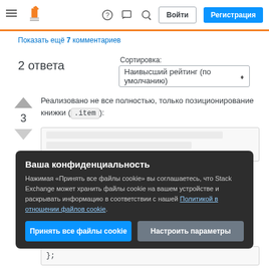[Figure (screenshot): Stack Overflow navigation bar with hamburger menu, SO logo, help icon, chat icon, search icon, login button, and signup button]
Показать ещё 7 комментариев
2 ответа
Сортировка:
Наивысший рейтинг (по умолчанию)
Реализовано не все полностью, только позиционирование книжки (.item):
Ваша конфиденциальность
Нажимая «Принять все файлы cookie» вы соглашаетесь, что Stack Exchange может хранить файлы cookie на вашем устройстве и раскрывать информацию в соответствии с нашей Политикой в отношении файлов cookie.
Принять все файлы cookie
Настроить параметры
};